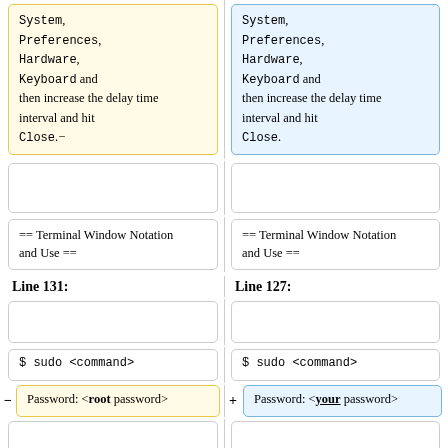<code>System</code>, <code>Preferences</code>, <code>Hardware</code>, <code>Keyboard</code> and then increase the delay time interval and hit <code>Close</code>.-
<code>System</code>, <code>Preferences</code>, <code>Hardware</code>, <code>Keyboard</code> and then increase the delay time interval and hit <code>Close</code>.
== Terminal Window Notation and Use ==
== Terminal Window Notation and Use ==
Line 131:
Line 127:
$ sudo <command>
$ sudo <command>
Password: <root password>
Password: <your password>